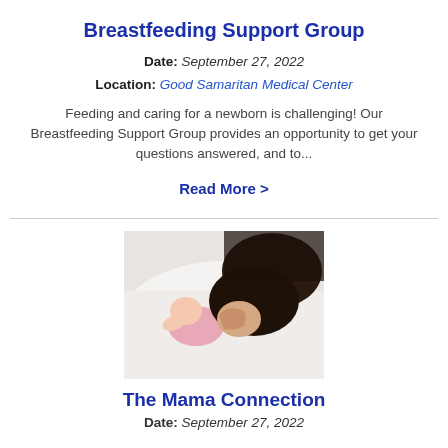Breastfeeding Support Group
Date: September 27, 2022
Location: Good Samaritan Medical Center
Feeding and caring for a newborn is challenging! Our Breastfeeding Support Group provides an opportunity to get your questions answered, and to...
Read More >
[Figure (photo): A mother kissing a newborn baby dressed in pink, both lying on a white surface]
The Mama Connection
Date: September 27, 2022